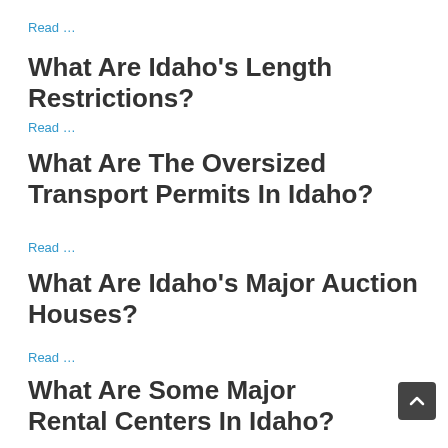Read ...
What Are Idaho's Length Restrictions?
Read ...
What Are The Oversized Transport Permits In Idaho?
Read ...
What Are Idaho's Major Auction Houses?
Read ...
What Are Some Major Rental Centers In Idaho?
Read ...